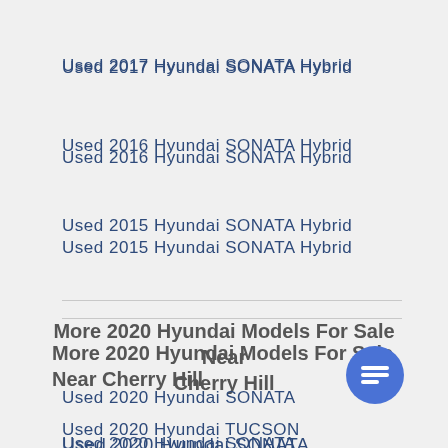Used 2017 Hyundai SONATA Hybrid
Used 2016 Hyundai SONATA Hybrid
Used 2015 Hyundai SONATA Hybrid
More 2020 Hyundai Models For Sale Near Cherry Hill
Used 2020 Hyundai SONATA
Used 2020 Hyundai TUCSON
Used 2020 Hyundai ELANTRA